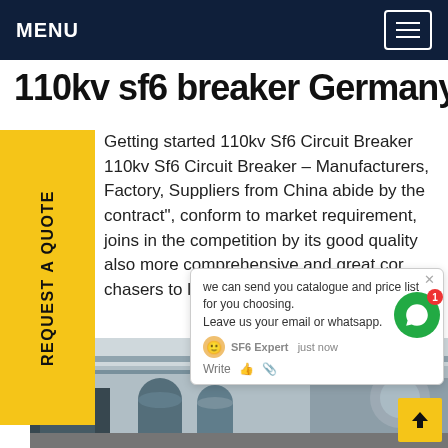MENU
110kv sf6 breaker Germany
Getting started 110kv Sf6 Circuit Breaker 110kv Sf6 Circuit Breaker - Manufacturers, Factory, Suppliers from China abide by the contract", conform to market requirement, joins in the competition by its good quality also more comprehensive and great cor... chasers to let them turn into ... ce
[Figure (screenshot): Chat popup overlay showing message: 'we can send you catalogue and price list for you choosing. Leave us your email or whatsapp.' with SF6 Expert agent label, just now timestamp, Write field with like and attachment icons]
[Figure (photo): Factory interior showing industrial equipment, tanks, pipes, and machinery in a manufacturing facility]
REQUEST A QUOTE